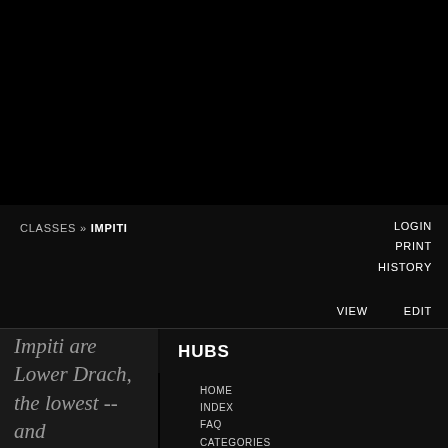CLASSES » IMPITI
LOGIN
PRINT
HISTORY
VIEW
EDIT
Impiti are Lower Drach, the lowest -- and
HUBS
HOME
INDEX
FAQ
CATEGORIES
WORLD
PEOPLE
LIBRARY
GLOSSARY
RACIAL CLASSES